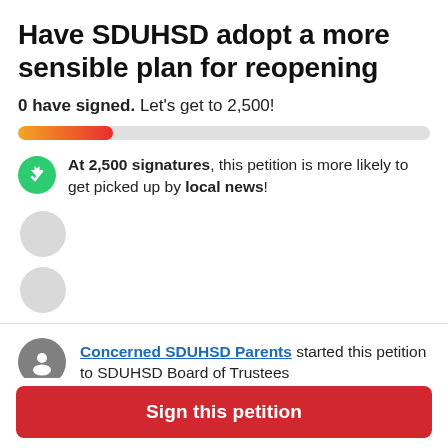Have SDUHSD adopt a more sensible plan for reopening
0 have signed. Let's get to 2,500!
[Figure (other): Progress bar showing partial fill from orange to red on a gray background, approximately 23% filled]
At 2,500 signatures, this petition is more likely to get picked up by local news!
Concerned SDUHSD Parents started this petition to SDUHSD Board of Trustees
To: SDUHSD Board of Trustees and San Dieguito
Sign this petition